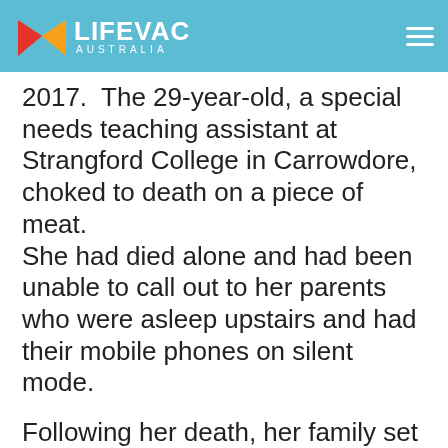LifeVac Australia
2017.  The 29-year-old, a special needs teaching assistant at Strangford College in Carrowdore, choked to death on a piece of meat. She had died alone and had been unable to call out to her parents who were asleep upstairs and had their mobile phones on silent mode.
Following her death, her family set up The Sherry Campbell Foundation to raise awareness of the dangers of choking. As a result of its work, Sherry...